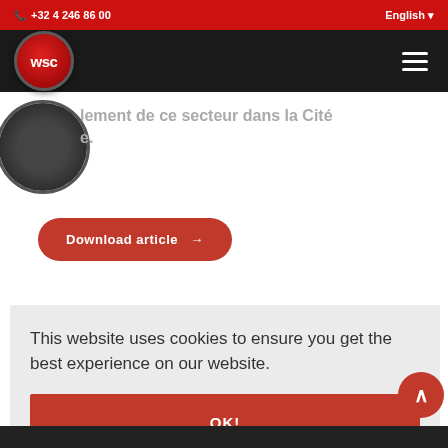+32 4 246 86 00   English
[Figure (logo): WSC company logo: red circle with white 'wsc' text]
lement de ce secteur dans la Cité e.
Download article →
This website uses cookies to ensure you get the best experience on our website.
OK!